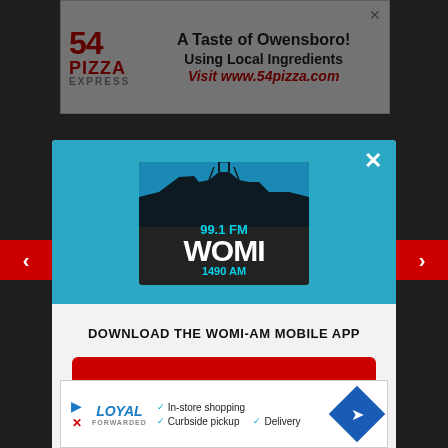[Figure (screenshot): Top advertisement banner for 54 Pizza Express featuring red logo and text 'A Taste of Owensboro! Using Local Ingredients Visit www.54pizza.com']
[Figure (screenshot): Modal popup dialog for WOMI radio station (99.1 FM / 1490 AM) with teal header showing station logo, white body with download prompt, red CTA button 'GET OUR FREE MOBILE APP', and Amazon Alexa listening option]
DOWNLOAD THE WOMI-AM MOBILE APP
GET OUR FREE MOBILE APP
Also listen on: amazon alexa
[Figure (screenshot): Bottom advertisement banner for Loyal app showing logo, checkmarks for In-store shopping, Curbside pickup, Delivery, and a blue navigation diamond icon]